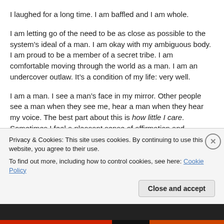I laughed for a long time. I am baffled and I am whole.
I am letting go of the need to be as close as possible to the system’s ideal of a man. I am okay with my ambiguous body. I am proud to be a member of a secret tribe. I am comfortable moving through the world as a man. I am an undercover outlaw. It’s a condition of my life: very well.
I am a man. I see a man’s face in my mirror. Other people see a man when they see me, hear a man when they hear my voice. The best part about this is how little I care. Sometimes I feel a pleasant sense of affirmation and belonging; sometimes I feel the gnawing pangs exclusion and isolation. Both are okay. Most of the time, I just don’t think about it. What a goddamn relief. As Amy has said, the best part
Privacy & Cookies: This site uses cookies. By continuing to use this website, you agree to their use.
To find out more, including how to control cookies, see here: Cookie Policy
Close and accept